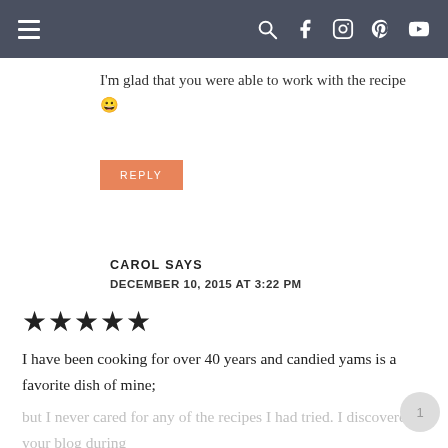Navigation header with hamburger menu and social icons (search, facebook, instagram, pinterest, youtube)
I'm glad that you were able to work with the recipe 😀
REPLY
CAROL SAYS
DECEMBER 10, 2015 AT 3:22 PM
★★★★★
I have been cooking for over 40 years and candied yams is a favorite dish of mine; but I never cared for any of the recipes I had tried. I discovered your blog during